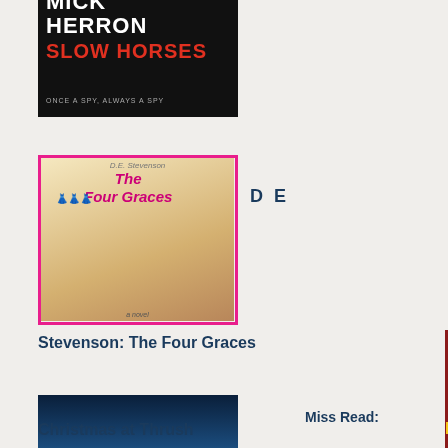[Figure (photo): Book cover of Slow Horses by Mick Herron, black background with white and red text]
[Figure (photo): Book cover of The Four Graces, art deco style with women in 1920s fashion, pink border]
D E
Stevenson: The Four Graces
Miss Read:
[Figure (photo): Book cover of Christmas at Thrush Green by Miss Read, snowy winter village scene]
Christmas at Thrush
tha
hac
bec
in
the
Bas
Bo:
Cor
hac
led
him